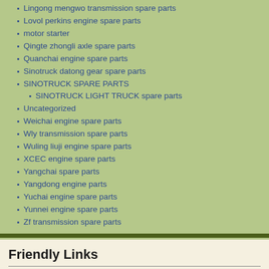Lingong mengwo transmission spare parts
Lovol perkins engine spare parts
motor starter
Qingte zhongli axle spare parts
Quanchai engine spare parts
Sinotruck datong gear spare parts
SINOTRUCK SPARE PARTS
SINOTRUCK LIGHT TRUCK spare parts
Uncategorized
Weichai engine spare parts
Wly transmission spare parts
Wuling liuji engine spare parts
XCEC engine spare parts
Yangchai spare parts
Yangdong engine parts
Yuchai engine spare parts
Yunnei engine spare parts
Zf transmission spare parts
Friendly Links
Meppon.com
Meppon.net
Meppon.cn